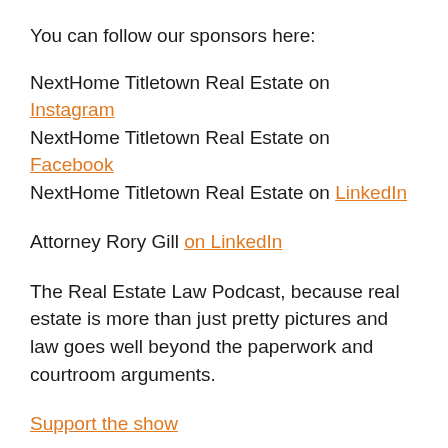You can follow our sponsors here:
NextHome Titletown Real Estate on Instagram
NextHome Titletown Real Estate on Facebook
NextHome Titletown Real Estate on LinkedIn
Attorney Rory Gill on LinkedIn
The Real Estate Law Podcast, because real estate is more than just pretty pictures and law goes well beyond the paperwork and courtroom arguments.
Support the show